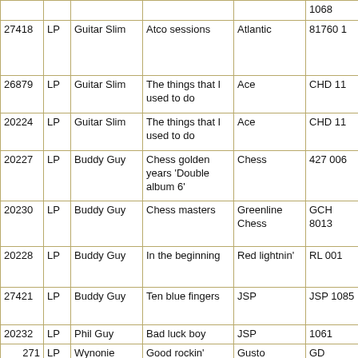| ID | Type | Artist | Title | Label | Cat# |
| --- | --- | --- | --- | --- | --- |
|  |  |  |  |  | 1068 |
| 27418 | LP | Guitar Slim | Atco sessions | Atlantic | 81760 1 |
| 26879 | LP | Guitar Slim | The things that I used to do | Ace | CHD 11 |
| 20224 | LP | Guitar Slim | The things that I used to do | Ace | CHD 11 |
| 20227 | LP | Buddy Guy | Chess golden years 'Double album 6' | Chess | 427 006 |
| 20230 | LP | Buddy Guy | Chess masters | Greenline Chess | GCH 8013 |
| 20228 | LP | Buddy Guy | In the beginning | Red lightnin' | RL 001 |
| 27421 | LP | Buddy Guy | Ten blue fingers | JSP | JSP 1085 |
| 20232 | LP | Phil Guy | Bad luck boy | JSP | 1061 |
| 271 | LP | Wynonie Harris | Good rockin' blues | Gusto | GD 5040X |
| 26516 | LP | Billie Holiday | A flag for Lady Day | World record | T 345 |